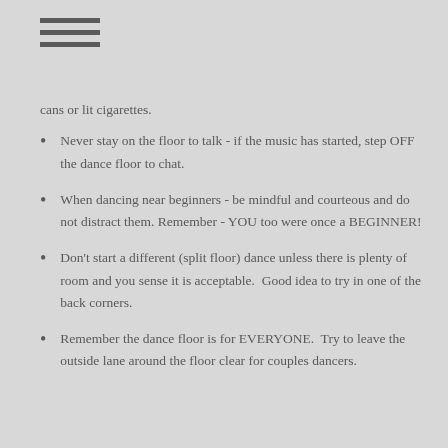≡ (hamburger menu icon)
cans or lit cigarettes.
Never stay on the floor to talk - if the music has started, step OFF the dance floor to chat.
When dancing near beginners - be mindful and courteous and do not distract them. Remember - YOU too were once a BEGINNER!
Don't start a different (split floor) dance unless there is plenty of room and you sense it is acceptable.  Good idea to try in one of the back corners.
Remember the dance floor is for EVERYONE.  Try to leave the outside lane around the floor clear for couples dancers.